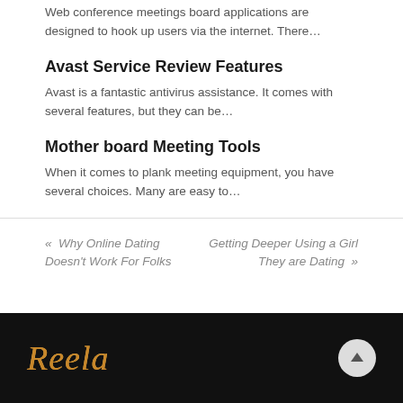Web conference meetings board applications are designed to hook up users via the internet. There…
Avast Service Review Features
Avast is a fantastic antivirus assistance. It comes with several features, but they can be…
Mother board Meeting Tools
When it comes to plank meeting equipment, you have several choices. Many are easy to…
« Why Online Dating Doesn't Work For Folks | Getting Deeper Using a Girl They are Dating »
[Figure (logo): Reela script logo in gold/orange gradient on black background]